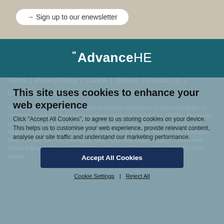→ Sign up to our enewsletter
[Figure (logo): Advance HE logo with quotation marks, white text on teal background]
Terms | Privacy Policy | Cookie | Opt-out | Contact Us | Current Vacancies
©Advance HE is a company limited by guarantee registered in England and Wales no. 04931031 | Company limited by guarantee registered in Ireland no. 703150 | Registered charity, England and Wales 1101607 | Registered charity, Scotland SC043946 | VAT Registered number GB 152 1219 50. Registered UK Address: Advance HE, Innovation Way, York Science Park, Heslington, York, YO10 5BR, United Kingdom | Registered Ireland Address: Advance HE, First Floor, Penrose 1, Penrose Dock, Cork, T23 Kw81, Ireland.
This site uses cookies to enhance your web experience
Click "Accept All Cookies", to agree to us storing cookies on your device. This helps us to customise your web experience, provide relevant content, analyse our site traffic and understand our marketing performance.
Accept All Cookies
Cookie Settings | Reject All